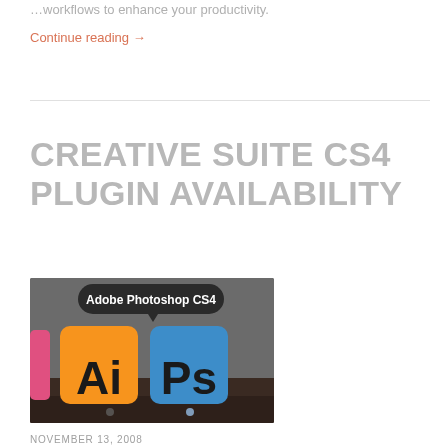…workflows to enhance your productivity.
Continue reading →
CREATIVE SUITE CS4 PLUGIN AVAILABILITY
[Figure (photo): Screenshot showing Adobe Photoshop CS4 application icon along with Adobe Illustrator (Ai) and Photoshop (Ps) CS4 icons on a dark background, with a tooltip/label reading 'Adobe Photoshop CS4']
NOVEMBER 13, 2008